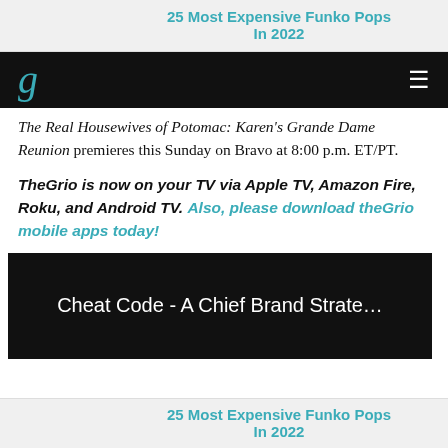25 Most Expensive Funko Pops In 2022
g (theGrio logo) ☰
The Real Housewives of Potomac: Karen's Grande Dame Reunion premieres this Sunday on Bravo at 8:00 p.m. ET/PT.
TheGrio is now on your TV via Apple TV, Amazon Fire, Roku, and Android TV. Also, please download theGrio mobile apps today!
[Figure (screenshot): Video thumbnail with black background and white text reading 'Cheat Code - A Chief Brand Strate...']
25 Most Expensive Funko Pops In 2022